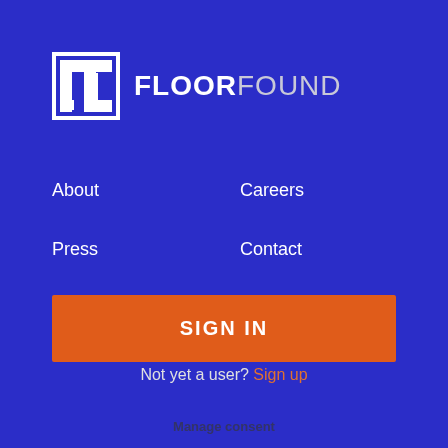[Figure (logo): FloorFound logo: white grid icon with FLOORFOUND text (FLOOR bold, FOUND light weight)]
About
Careers
Press
Contact
Blog
Privacy Policy
SIGN IN
Not yet a user? Sign up
Manage consent